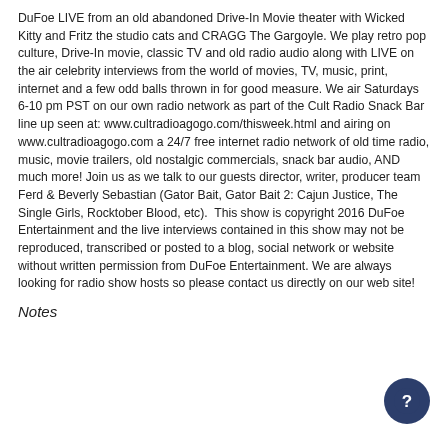DuFoe LIVE from an old abandoned Drive-In Movie theater with Wicked Kitty and Fritz the studio cats and CRAGG The Gargoyle. We play retro pop culture, Drive-In movie, classic TV and old radio audio along with LIVE on the air celebrity interviews from the world of movies, TV, music, print, internet and a few odd balls thrown in for good measure. We air Saturdays 6-10 pm PST on our own radio network as part of the Cult Radio Snack Bar line up seen at: www.cultradioagogo.com/thisweek.html and airing on www.cultradioagogo.com a 24/7 free internet radio network of old time radio, music, movie trailers, old nostalgic commercials, snack bar audio, AND much more! Join us as we talk to our guests director, writer, producer team Ferd & Beverly Sebastian (Gator Bait, Gator Bait 2: Cajun Justice, The Single Girls, Rocktober Blood, etc).  This show is copyright 2016 DuFoe Entertainment and the live interviews contained in this show may not be reproduced, transcribed or posted to a blog, social network or website without written permission from DuFoe Entertainment. We are always looking for radio show hosts so please contact us directly on our web site!
Notes